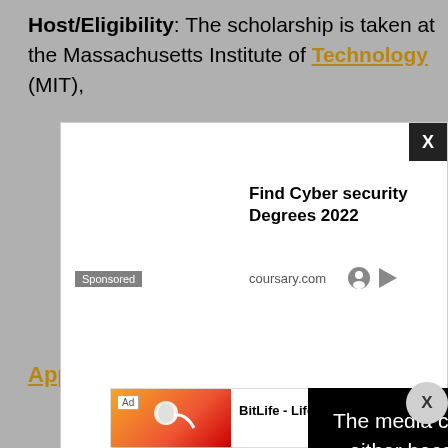Host/Eligibility: The scholarship is taken at the Massachusetts Institute of Technology (MIT),
[Figure (screenshot): Advertisement overlay showing 'Find Cyber security Degrees 2022' from coursary.com with Sponsored tag and close X button]
[Figure (screenshot): Black overlay with white text: 'The media could not be loaded, either because the server or network failed or because the' with large X watermark]
[Figure (screenshot): Bottom advertisement bar: Ad label, BitLife Life Simulator app icon, Install button in blue]
App